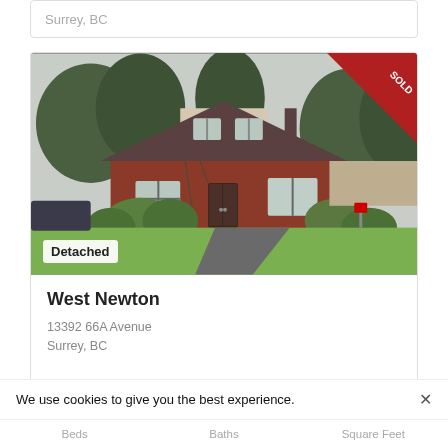Surrey, BC
[Figure (photo): Exterior photo of a detached house with red siding, stucco upper level, large trees, green lawn, and driveway. A red SOLD ribbon badge is in the top-right corner of the image.]
Detached
West Newton
13392 66A Avenue
Surrey, BC
We use cookies to give you the best experience.
Beds    Baths    Square Feet